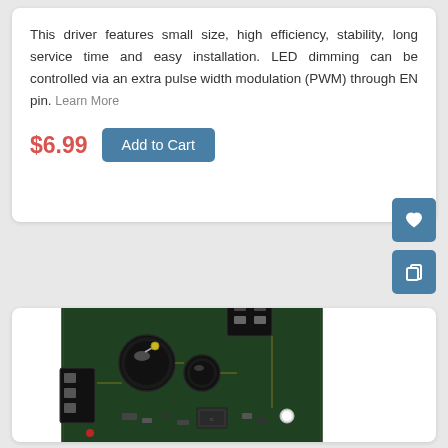This driver features small size, high efficiency, stability, long service time and easy installation. LED dimming can be controlled via an extra pulse width modulation (PWM) through EN pin. Learn More
$6.99  Add to Cart
[Figure (photo): Photo of an LED driver circuit board module with capacitors, connectors, and electronic components mounted on a PCB]